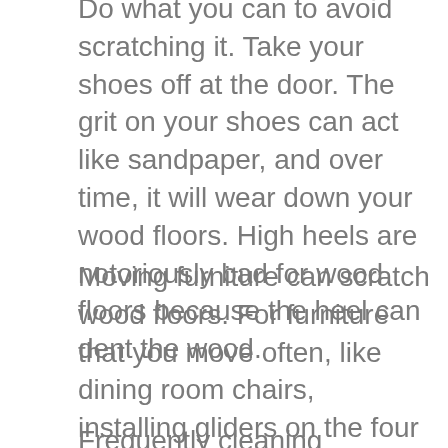Do what you can to avoid scratching it. Take your shoes off at the door. The grit on your shoes can act like sandpaper, and over time, it will wear down your wood floors. High heels are notoriously bad for wood floors because the heel can dent the wood.
Moving furniture can scratch wood floors. For furniture that you move often, like dining room chairs, installing gliders on the four legs can help protect your hardwood floor.
Frequently cleaning hardwood floors is vital for avoiding scratches. If you don't clean the